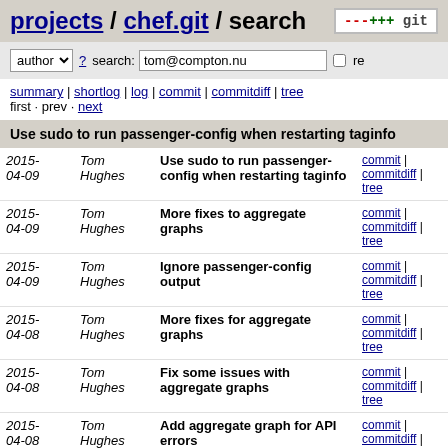projects / chef.git / search
author ? search: tom@compton.nu re
summary | shortlog | log | commit | commitdiff | tree
first · prev · next
Use sudo to run passenger-config when restarting taginfo
| Date | Author | Message | Links |
| --- | --- | --- | --- |
| 2015-04-09 | Tom Hughes | Use sudo to run passenger-config when restarting taginfo | commit | commitdiff | tree |
| 2015-04-09 | Tom Hughes | More fixes to aggregate graphs | commit | commitdiff | tree |
| 2015-04-09 | Tom Hughes | Ignore passenger-config output | commit | commitdiff | tree |
| 2015-04-08 | Tom Hughes | More fixes for aggregate graphs | commit | commitdiff | tree |
| 2015-04-08 | Tom Hughes | Fix some issues with aggregate graphs | commit | commitdiff | tree |
| 2015-04-08 | Tom Hughes | Add aggregate graph for API errors | commit | commitdiff | tree |
| 2015-04-08 | Tom Hughes | Avoid spikes in munin graph when api counters reset | commit | commitdiff | tree |
| 2015-04-08 | Tom Hughes | Add log rotation for chef server nginx logs | commit | commitdiff | tree |
| 2015-04-08 | Tom Hughes | Use passenger-config to restart | commit | commitdiff |